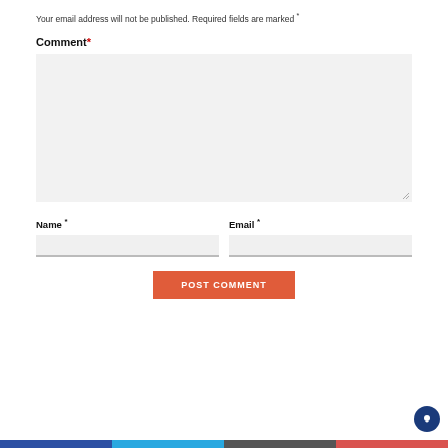Your email address will not be published. Required fields are marked *
Comment *
[Figure (screenshot): Comment textarea input field with light gray background and resize handle at bottom right]
Name *
Email *
[Figure (screenshot): Name text input field with light gray background and bottom border]
[Figure (screenshot): Email text input field with light gray background and bottom border]
POST COMMENT
[Figure (other): Dark blue circular chat/support bubble icon in bottom right corner]